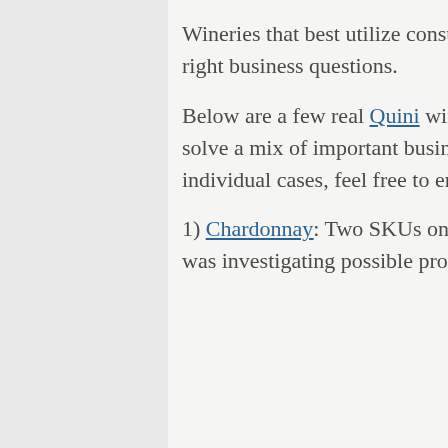Wineries that best utilize consumer sensory data are asking (and answering) the right business questions.
Below are a few real Quini winery client cases where sensory data was tapped to solve a mix of important business and product issues. For more details about the individual cases, feel free to email info@quiniwine.com.
1) Chardonnay: Two SKUs on a winery's million case per year brand. The winery was investigating possible product cannibalization.